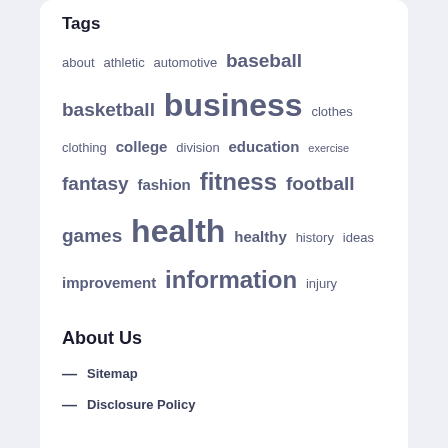Tags
about athletic automotive baseball basketball business clothes clothing college division education exercise fantasy fashion fitness football games health healthy history ideas improvement information injury leisure movies nutrition online protein rumors schedules scores shoes soccer sport sports standings stats technology travel video videos women workout yahoo
About Us
— Sitemap
— Disclosure Policy